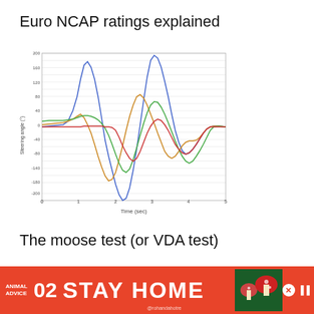Euro NCAP ratings explained
[Figure (continuous-plot): Line chart showing steering angle (°) vs Time (sec) with multiple colored curves (blue, orange, green, red). The y-axis ranges from approximately -200 to +200 degrees. The x-axis shows time from 0 to about 5 seconds. Multiple sinusoidal/oscillating curves overlap, representing different vehicle steering angle responses during a test maneuver.]
The moose test (or VDA test)
[Figure (photo): Partial view of a car/vehicle being tested, partially visible at the bottom of the page.]
[Figure (other): Advertisement banner: Animal Advice 02 - STAY HOME - @rohandahotre with cartoon illustration of mushrooms/forest scene]